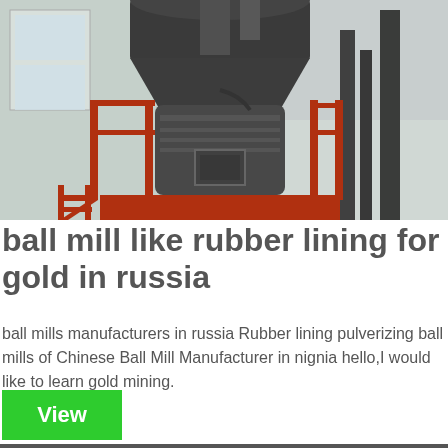[Figure (photo): Industrial ball mill machine with red metal railings and stairs in a factory setting, viewed from below looking up at large dark cylindrical grinding equipment]
ball mill like rubber lining for gold in russia
ball mills manufacturers in russia Rubber lining pulverizing ball mills of Chinese Ball Mill Manufacturer in nignia hello,I would like to learn gold mining.
[Figure (photo): Another industrial ball mill machine inside a factory/warehouse, showing large cylindrical dark metal grinding equipment with structural supports]